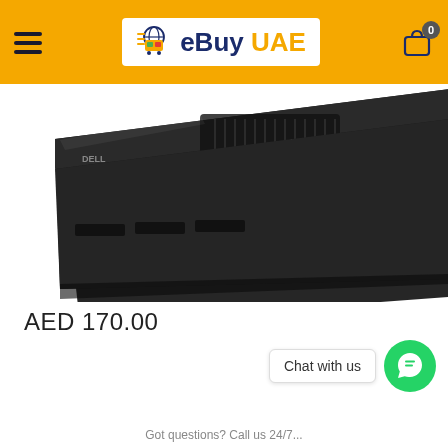eBuy UAE
[Figure (photo): Close-up photo of a Dell laptop battery (black), viewed from an angle showing top vents and contacts, against a white background.]
AED 170.00
Chat with us
Got questions? Call us 24/7...